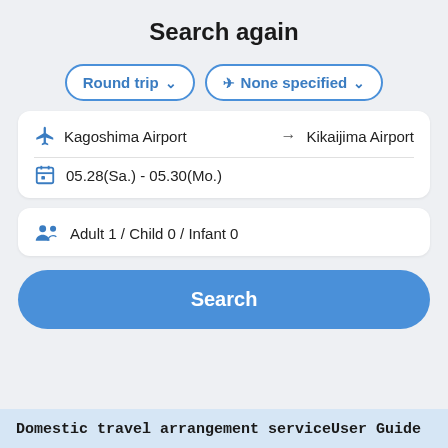Search again
[Figure (screenshot): Two dropdown buttons: 'Round trip' with chevron, and airplane icon 'None specified' with chevron]
[Figure (screenshot): Search form card showing route: Kagoshima Airport → Kikaijima Airport, and dates: 05.28(Sa.) - 05.30(Mo.)]
[Figure (screenshot): Passenger card: Adult 1 / Child 0 / Infant 0]
[Figure (screenshot): Search button (large blue rounded rectangle)]
Domestic travel arrangement serviceUser Guide